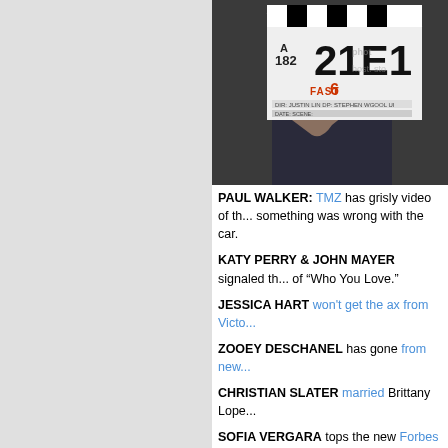[Figure (photo): Person holding a film clapperboard for Fast 6, slate number 182 21E1, with text showing director/crew information. Hand pointing at the board, person in dark clothing visible.]
PAUL WALKER: TMZ has grisly video of th... something was wrong with the car.
KATY PERRY & JOHN MAYER signaled th... of "Who You Love."
JESSICA HART won't get the ax from Victo...
ZOOEY DESCHANEL has gone from new...
CHRISTIAN SLATER married Brittany Lope...
SOFIA VERGARA tops the new Forbes list...
GILLIAN ANDERSON wears a giant eel fo...
THE UNITED KINGDOM: Prime Minister C... extremism" as a distinct ideology that disto... savage murder of an unarmed British soldie... May will set out measures to deal with extr...